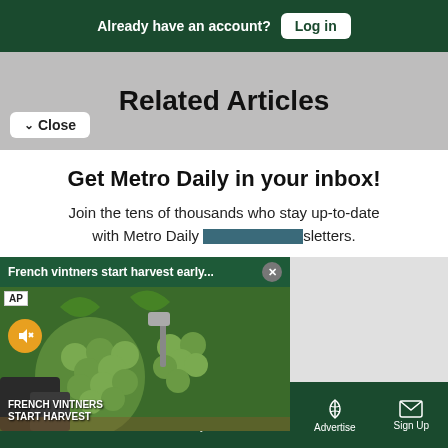Already have an account? Log in
Related Articles
Close
Get Metro Daily in your inbox!
Join the tens of thousands who stay up-to-date with Metro Daily newsletters.
[Figure (screenshot): Video overlay showing French vintners harvesting grapes early, with AP badge and mute button. Title bar reads 'French vintners start harvest early...' with a close X button.]
tter
Sections  NY Edition  Philly  Games  Advertise  Sign Up